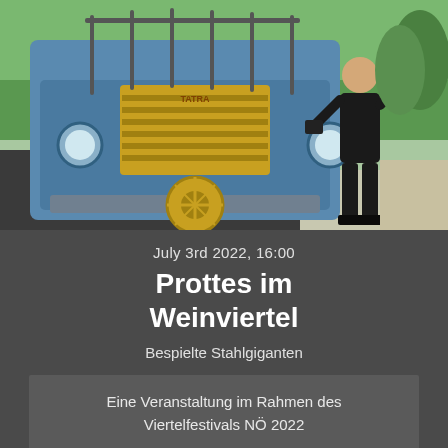[Figure (photo): A man in black clothing stands next to the front of a vintage blue truck (Tatra) with a yellow grille. He is holding drumsticks or similar sticks. A yellow wheel/drum is visible at the front of the truck. Green trees and grass in the background.]
July 3rd 2022, 16:00
Prottes im Weinviertel
Bespielte Stahlgiganten
Eine Veranstaltung im Rahmen des Viertelfestivals NÖ 2022